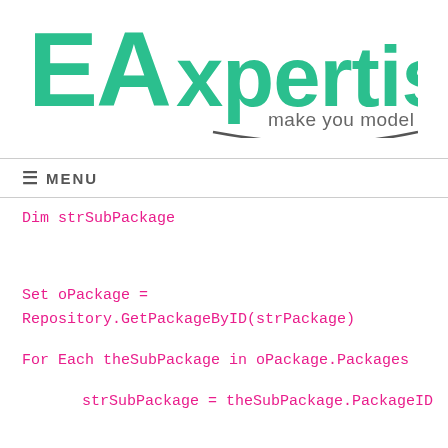[Figure (logo): EAxpertise logo with green bold text 'EAxpertise' and grey tagline 'make you model' with a curved underline arc]
≡ MENU
Dim strSubPackage
Set oPackage =
Repository.GetPackageByID(strPackage)
For Each theSubPackage in oPackage.Packages
strSubPackage = theSubPackage.PackageID